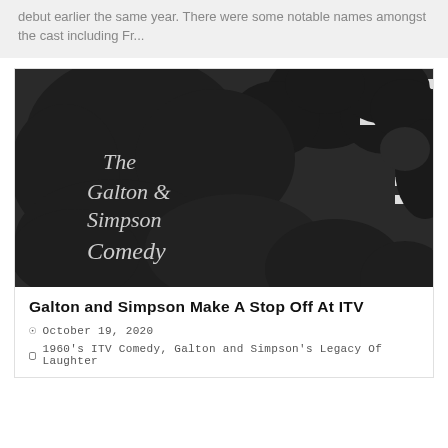debut earlier the same year. There were some notable names amongst the cast including Fr...
[Figure (photo): Black and white logo sign reading 'The Galton & Simpson Comedy' with cloud-shaped decorative elements]
Galton and Simpson Make A Stop Off At ITV
October 19, 2020
1960's ITV Comedy, Galton and Simpson's Legacy Of Laughter